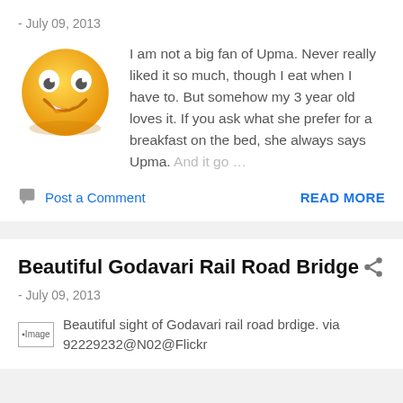- July 09, 2013
I am not a big fan of Upma. Never really liked it so much, though I eat when I have to. But somehow my 3 year old loves it. If you ask what she prefer for a breakfast on the bed, she always says Upma. And it go ...
Post a Comment
READ MORE
Beautiful Godavari Rail Road Bridge
- July 09, 2013
Beautiful sight of Godavari rail road brdige. via 92229232@N02@Flickr